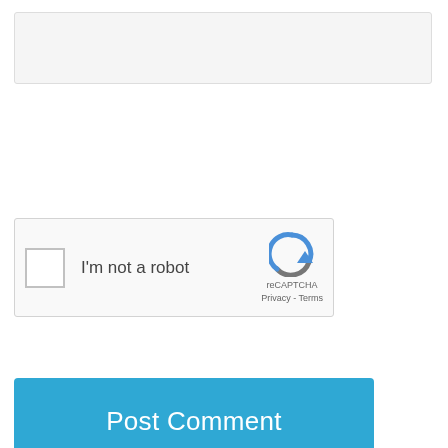[Figure (screenshot): Empty textarea input field with light gray background]
[Figure (screenshot): reCAPTCHA widget with checkbox labeled 'I'm not a robot' and reCAPTCHA logo with Privacy and Terms links]
[Figure (screenshot): Blue 'Post Comment' button]
[Figure (screenshot): Dark footer bar with infolinks advertisement showing 'Up to 60% off Clothing at Kohl's']